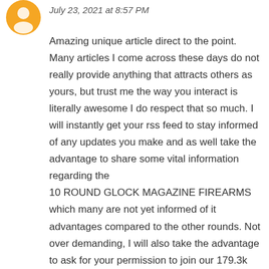[Figure (illustration): Orange circular avatar icon]
July 23, 2021 at 8:57 PM
Amazing unique article direct to the point. Many articles I come across these days do not really provide anything that attracts others as yours, but trust me the way you interact is literally awesome I do respect that so much. I will instantly get your rss feed to stay informed of any updates you make and as well take the advantage to share some vital information regarding the 10 ROUND GLOCK MAGAZINE FIREARMS which many are not yet informed of it advantages compared to the other rounds. Not over demanding, I will also take the advantage to ask for your permission to join our 179.3k